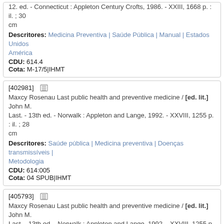12. ed. - Connecticut : Appleton Century Crofts, 1986. - XXIII, 1668 p. : il. ; 30 cm
Descritores: Medicina Preventiva | Saúde Pública | Manual | Estados Unidos América
CDU: 614.4
Cota: M-17/5|IHMT
[402981]
Maxcy Rosenau Last public health and preventive medicine / [ed. lit.] John M. Last. - 13th ed. - Norwalk : Appleton and Lange, 1992. - XXVIII, 1255 p. : il. ; 28 cm
Descritores: Saúde pública | Medicina preventiva | Doenças transmissíveis | Metodologia
CDU: 614:005
Cota: 04 SPUB|IHMT
[405793]
Maxcy Rosenau Last public health and preventive medicine / [ed. lit.] John M. Last. - 13th ed. - Norwalk : Appleton and Lange, 1992. - XXVIII, 1255 p. : il. ; 28 cm
Descritores: Saúde pública | Medicina preventiva | Doenças transmissíveis | Metodologia
CDU: 614:005
Cota: 04 SPUB|IHMT